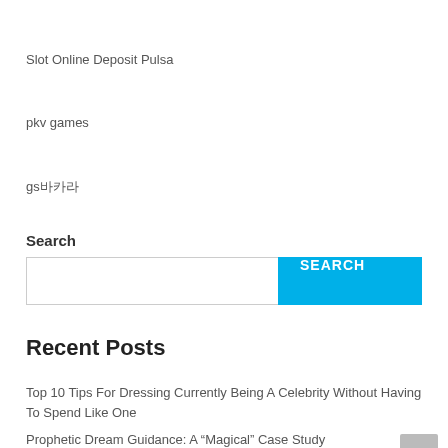Slot Online Deposit Pulsa
pkv games
gs바카라
Search
Recent Posts
Top 10 Tips For Dressing Currently Being A Celebrity Without Having To Spend Like One
Prophetic Dream Guidance: A “Magical” Case Study